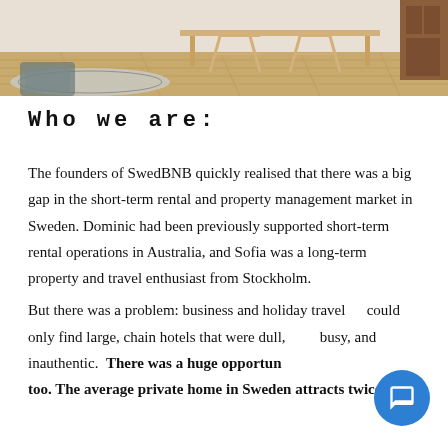[Figure (photo): Interior room photo showing a wooden desk with wishbone chairs on a hardwood floor, with a patterned rug in the foreground and a cabinet to the right.]
Who we are:
The founders of SwedBNB quickly realised that there was a big gap in the short-term rental and property management market in Sweden. Dominic had been previously supported short-term rental operations in Australia, and Sofia was a long-term property and travel enthusiast from Stockholm.
But there was a problem: business and holiday travelers could only find large, chain hotels that were dull, busy, and inauthentic.  There was a huge opportunity, too. The average private home in Sweden attracts twice